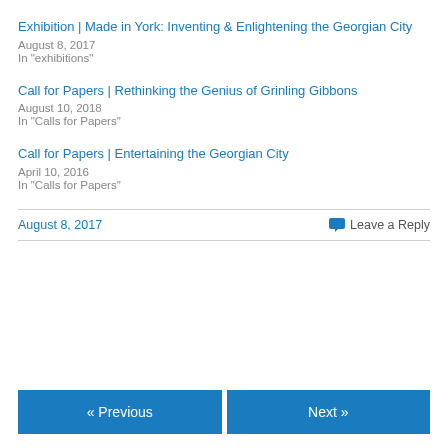Exhibition | Made in York: Inventing & Enlightening the Georgian City
August 8, 2017
In "exhibitions"
Call for Papers | Rethinking the Genius of Grinling Gibbons
August 10, 2018
In "Calls for Papers"
Call for Papers | Entertaining the Georgian City
April 10, 2016
In "Calls for Papers"
August 8, 2017
Leave a Reply